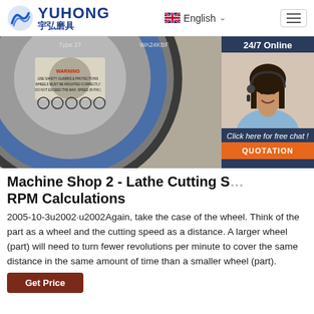YUHONG 宇弘磨具 | English
[Figure (photo): Close-up photo of the back of an abrasive grinding wheel showing safety warning text, symbols, Type 27 label, and specification WA24KBF printed on the wheel label. The wheel has a blue/grey circular design.]
[Figure (photo): 24/7 Online customer service widget showing a smiling female agent wearing a headset, with 'Click here for free chat!' text and a QUOTATION button.]
Machine Shop 2 - Lathe Cutting Speed & RPM Calculations
2005-10-3u2002·u2002Again, take the case of the wheel. Think of the part as a wheel and the cutting speed as a distance. A larger wheel (part) will need to turn fewer revolutions per minute to cover the same distance in the same amount of time than a smaller wheel (part).